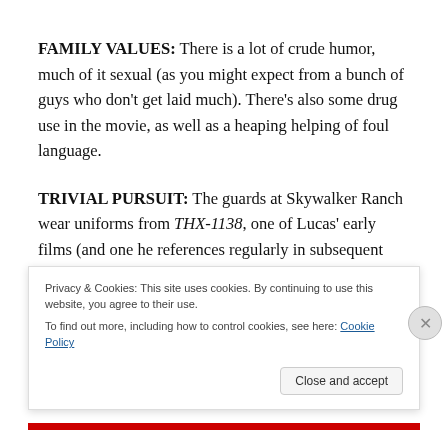FAMILY VALUES: There is a lot of crude humor, much of it sexual (as you might expect from a bunch of guys who don't get laid much). There's also some drug use in the movie, as well as a heaping helping of foul language.
TRIVIAL PURSUIT: The guards at Skywalker Ranch wear uniforms from THX-1138, one of Lucas' early films (and one he references regularly in subsequent films). The head guard is played in a cameo appearance by Ray
Privacy & Cookies: This site uses cookies. By continuing to use this website, you agree to their use.
To find out more, including how to control cookies, see here: Cookie Policy
Close and accept